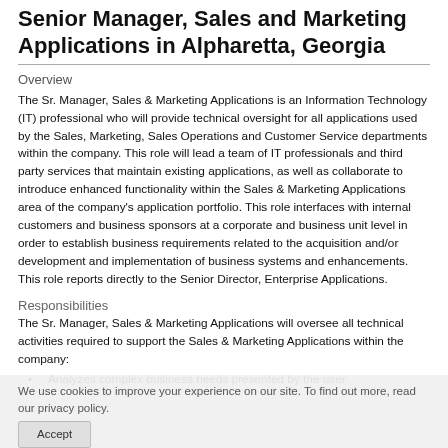Senior Manager, Sales and Marketing Applications in Alpharetta, Georgia
Overview
The Sr. Manager, Sales & Marketing Applications is an Information Technology (IT) professional who will provide technical oversight for all applications used by the Sales, Marketing, Sales Operations and Customer Service departments within the company. This role will lead a team of IT professionals and third party services that maintain existing applications, as well as collaborate to introduce enhanced functionality within the Sales & Marketing Applications area of the company's application portfolio. This role interfaces with internal customers and business sponsors at a corporate and business unit level in order to establish business requirements related to the acquisition and/or development and implementation of business systems and enhancements. This role reports directly to the Senior Director, Enterprise Applications.
Responsibilities
The Sr. Manager, Sales & Marketing Applications will oversee all technical activities required to support the Sales & Marketing Applications within the company:
Analyzes complex business needs presented by the user